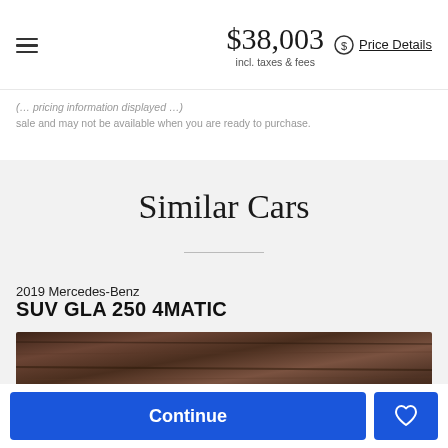$38,003 incl. taxes & fees  Price Details
sale and may not be available when you are ready to purchase.
Similar Cars
2019 Mercedes-Benz
SUV GLA 250 4MATIC
[Figure (photo): Partial view of a 2019 Mercedes-Benz SUV GLA 250 4MATIC in dark brown/wood-tone color]
Continue